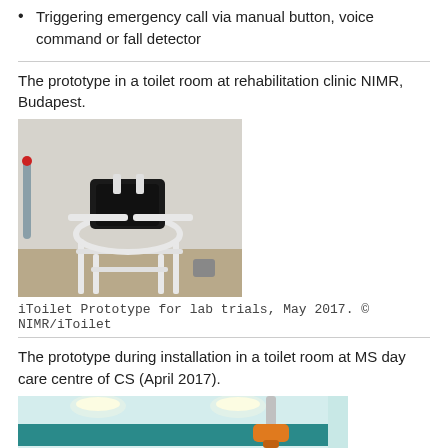Triggering emergency call via manual button, voice command or fall detector
The prototype in a toilet room at rehabilitation clinic NIMR, Budapest.
[Figure (photo): iToilet prototype wheelchair-commode chair in a bathroom at NIMR rehabilitation clinic]
iToilet Prototype for lab trials, May 2017. © NIMR/iToilet
The prototype during installation in a toilet room at MS day care centre of CS (April 2017).
[Figure (photo): Toilet room at MS day care centre of CS during installation, April 2017, showing tiled walls and ceiling lights]